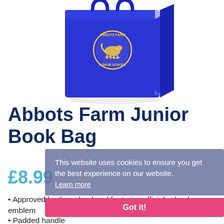[Figure (photo): Blue school book bag with Abbots Farm Junior School circular logo/emblem in gold on the front, photographed against white background]
Abbots Farm Junior Book Bag
£8.99
• Approved by the school and featuring official school emblem
• Padded handle
This website uses cookies to ensure you get the best experience on our website. Learn more
Got it!